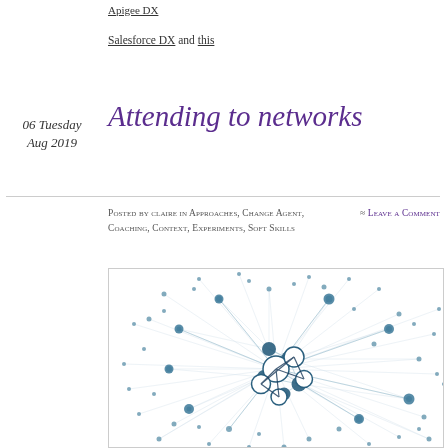Apigee DX
Salesforce DX and this
06 Tuesday Aug 2019
Attending to networks
Posted by claire in Approaches, Change Agent, Coaching, Context, Experiments, Soft Skills
≈ Leave a Comment
[Figure (network-graph): A network graph visualization showing interconnected nodes of varying sizes, connected by edges. The nodes appear in teal/blue-grey colors with white larger central nodes, set against a white background. The network shows a dense cluster of connections radiating outward with many peripheral smaller nodes.]